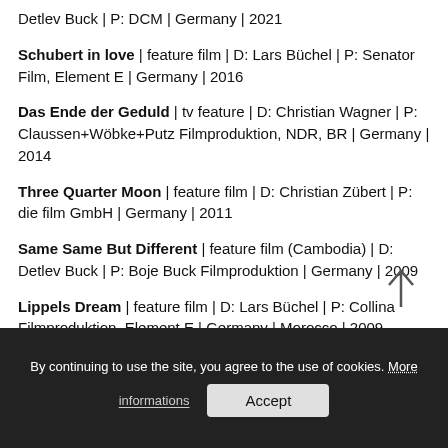Detlev Buck | P: DCM | Germany | 2021
Schubert in love | feature film | D: Lars Büchel | P: Senator Film, Element E | Germany | 2016
Das Ende der Geduld | tv feature | D: Christian Wagner | P: Claussen+Wöbke+Putz Filmproduktion, NDR, BR | Germany | 2014
Three Quarter Moon | feature film | D: Christian Zübert | P: die film GmbH | Germany | 2011
Same Same But Different | feature film (Cambodia) | D: Detlev Buck | P: Boje Buck Filmproduktion | Germany | 2009
Lippels Dream | feature film | D: Lars Büchel | P: Collina Filmproduktion, Element E | Germany | Morocco | 2009
Hands off Mississippi | feature film | D: Detlev ...
By continuing to use the site, you agree to the use of cookies. More informations  Accept